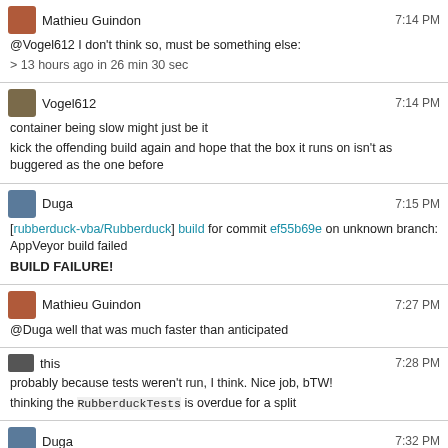Mathieu Guindon 7:14 PM
@Vogel612 I don't think so, must be something else:
> 13 hours ago in 26 min 30 sec
Vogel612 7:14 PM
container being slow might just be it
kick the offending build again and hope that the box it runs on isn't as buggered as the one before
Duga 7:15 PM
[rubberduck-vba/Rubberduck] build for commit ef55b69e on unknown branch: AppVeyor build failed
BUILD FAILURE!
Mathieu Guindon 7:27 PM
@Duga well that was much faster than anticipated
this 7:28 PM
probably because tests weren't run, I think. Nice job, bTW!
thinking the RubberduckTests is overdue for a split
Duga 7:32 PM
[rubberduck-vba/Rubberduck] retailcoder created comment on pull request #5740: Make SelectedDeclarationProvider argument-aware
> !!Dispatch is now shown as 'Object' in the commandbar
[rubberduck-vba/Rubberduck] retailcoder synchronized pull request #5740: Make SelectedDeclarationProvider argument-aware